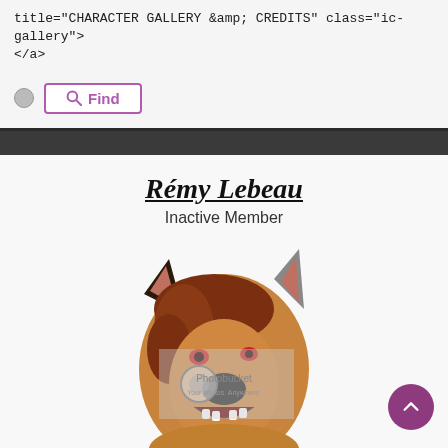title="CHARACTER GALLERY &amp; CREDITS" class="ic-gallery">
</a>
Find (search button UI element)
Rémy Lebeau
Inactive Member
[Figure (illustration): Furry/anthro art illustration of a wolf/dog character head with brown hair and red eyes, mouth open showing teeth, with a Photobucket watermark overlay]